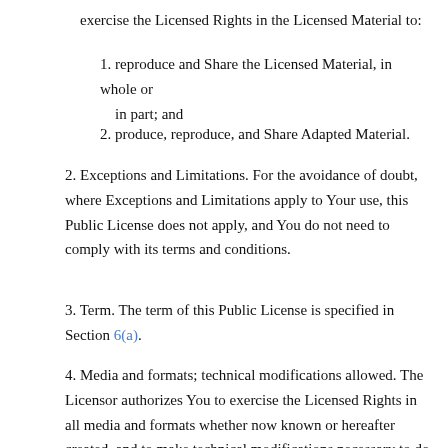exercise the Licensed Rights in the Licensed Material to:
1. reproduce and Share the Licensed Material, in whole or in part; and
2. produce, reproduce, and Share Adapted Material.
2. Exceptions and Limitations. For the avoidance of doubt, where Exceptions and Limitations apply to Your use, this Public License does not apply, and You do not need to comply with its terms and conditions.
3. Term. The term of this Public License is specified in Section 6(a).
4. Media and formats; technical modifications allowed. The Licensor authorizes You to exercise the Licensed Rights in all media and formats whether now known or hereafter created, and to make technical modifications necessary to do so. The Licensor waives and/or agrees not to assert any rights or the its of rights from combining technical